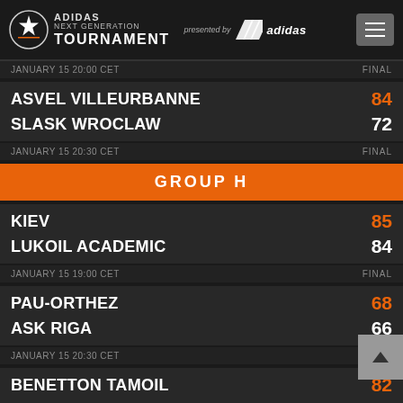ADIDAS NEXT GENERATION TOURNAMENT — presented by adidas
JANUARY 15 20:00 CET — FINAL
ASVEL VILLEURBANNE 84 / SLASK WROCLAW 72
JANUARY 15 20:30 CET — FINAL
GROUP H
KIEV 85 / LUKOIL ACADEMIC 84
JANUARY 15 19:00 CET — FINAL
PAU-ORTHEZ 68 / ASK RIGA 66
JANUARY 15 20:30 CET — FINAL
BENETTON TAMOIL 82 / ARTLAND DRAGONS 64
JANUARY 15 20:30 CET — FINAL